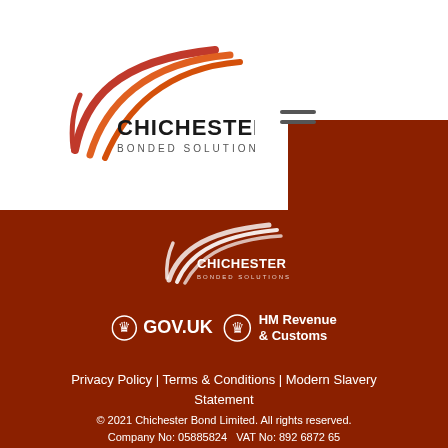[Figure (logo): Chichester Bonded Solutions logo with swoosh graphic in red/orange and black text]
[Figure (illustration): Hamburger menu icon (three horizontal lines)]
[Figure (logo): Chichester Bonded Solutions white logo on dark red footer background]
[Figure (logo): GOV.UK and HM Revenue & Customs logos with crown icons]
Privacy Policy | Terms & Conditions | Modern Slavery Statement
© 2021 Chichester Bond Limited. All rights reserved. Company No: 05885824   VAT No: 892 6872 65 ISO9001